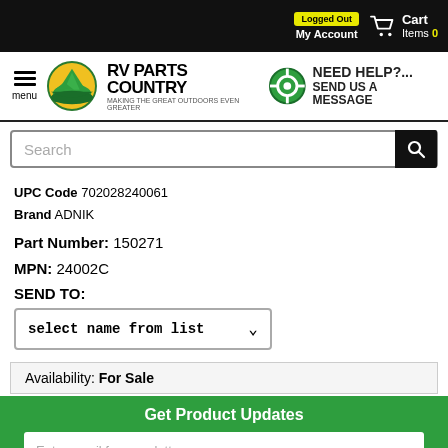Logged Out | My Account | Cart Items 0
[Figure (logo): RV Parts Country logo with hamburger menu and help button]
Search
UPC Code 702028240061
Brand ADNIK
Part Number: 150271
MPN: 24002C
SEND TO:
select name from list
Availability: For Sale
Get Product Updates
Enter email for newsletter
Facebook | Twitter | Back to top